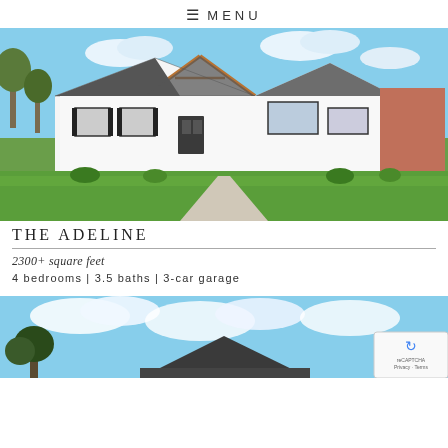≡ MENU
[Figure (photo): Exterior photo of The Adeline house plan — a white farmhouse-style single-story home with a wood-trimmed gabled entry, dark roof, black window shutters, and a large green lawn in the foreground.]
THE ADELINE
2300+ square feet
4 bedrooms | 3.5 baths | 3-car garage
[Figure (photo): Partial exterior photo of a second house plan, showing a dark-roofed home against a blue sky with clouds, cropped at the bottom of the page.]